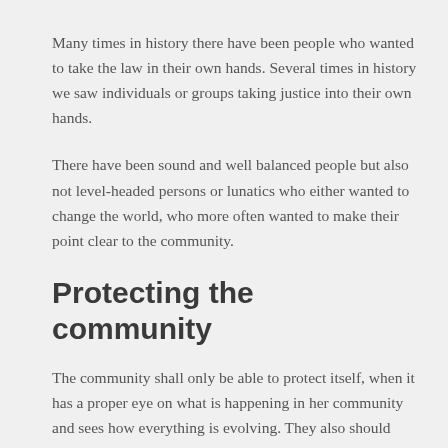Many times in history there have been people who wanted to take the law in their own hands. Several times in history we saw individuals or groups taking justice into their own hands.
There have been sound and well balanced people but also not level-headed persons or lunatics who either wanted to change the world, who more often wanted to make their point clear to the community.
Protecting the community
The community shall only be able to protect itself, when it has a proper eye on what is happening in her community and sees how everything is evolving. They also should know that examples in a community and social pressure are important matters which can influence data from one world to their own remaining.